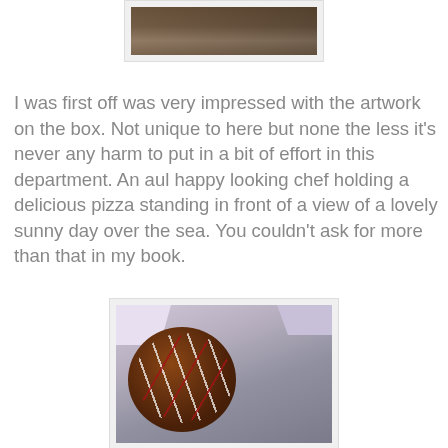[Figure (photo): Partial top photo showing a table or surface with objects, cropped at top of page]
I was first off was very impressed with the artwork on the box. Not unique to here but none the less it's never any harm to put in a bit of effort in this department. An aul happy looking chef holding a delicious pizza standing in front of a view of a lovely sunny day over the sea. You couldn't ask for more than that in my book.
[Figure (photo): Photo of a pizza with white and red sauce drizzle in a pizza box]